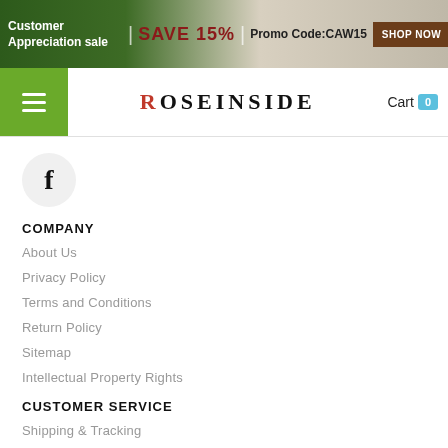Customer Appreciation sale | SAVE 15% | Promo Code:CAW15 SHOP NOW
[Figure (logo): ROSEINSIDE logo with navigation menu button and cart]
[Figure (logo): Facebook icon circle]
COMPANY
About Us
Privacy Policy
Terms and Conditions
Return Policy
Sitemap
Intellectual Property Rights
CUSTOMER SERVICE
Shipping & Tracking
Payment Methods